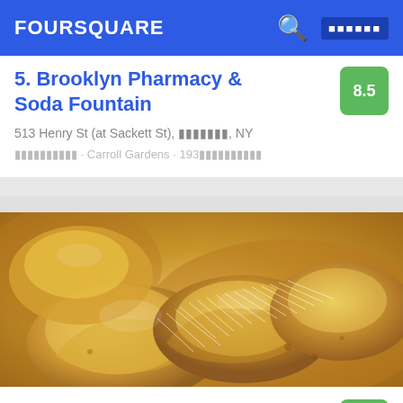FOURSQUARE
5. Brooklyn Pharmacy & Soda Fountain
513 Henry St (at Sackett St), 브루클린, NY
아이스크림 · Carroll Gardens · 193개의 팁
[Figure (photo): Close-up photo of food, appears to be pasta or dumplings with grated cheese on top, golden/yellow tones]
6. Celeste
502 Amsterdam Ave (btwn W 84th & W 85th St), 뉴욕, NY
이탈리안 · Upper West Side · 124개의 팁